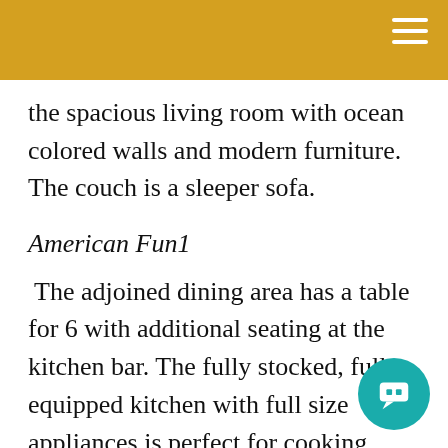the spacious living room with ocean colored walls and modern furniture. The couch is a sleeper sofa.
American Fun1
The adjoined dining area has a table for 6 with additional seating at the kitchen bar. The fully stocked, fully equipped kitchen with full size appliances is perfect for cooking your favorite seafood dishes at meal time. The floors are tiled throughout except for the bedrooms. Right off of the kitchen is the "breeze" room where...